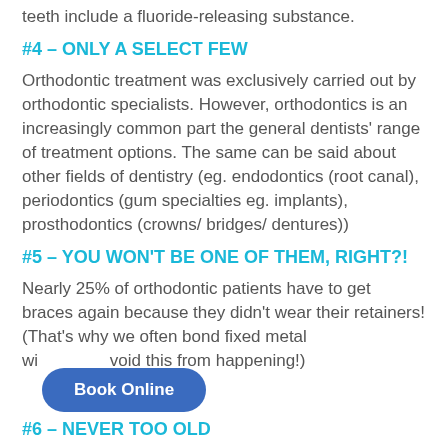teeth include a fluoride-releasing substance.
#4 – ONLY A SELECT FEW
Orthodontic treatment was exclusively carried out by orthodontic specialists. However, orthodontics is an increasingly common part the general dentists' range of treatment options. The same can be said about other fields of dentistry (eg. endodontics (root canal), periodontics (gum specialties eg. implants), prosthodontics (crowns/ bridges/ dentures))
#5 – YOU WON'T BE ONE OF THEM, RIGHT?!
Nearly 25% of orthodontic patients have to get braces again because they didn't wear their retainers! (That's why we often bond fixed metal wi… void this from happening!)
#6 – NEVER TOO OLD